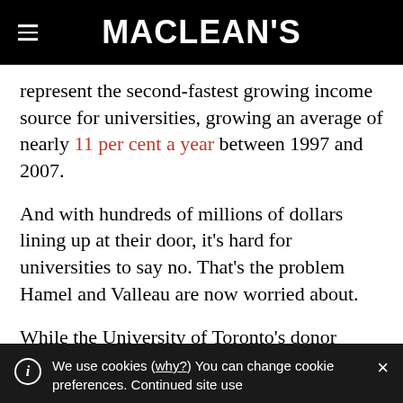MACLEAN'S
represent the second-fastest growing income source for universities, growing an average of nearly 11 per cent a year between 1997 and 2007.
And with hundreds of millions of dollars lining up at their door, it’s hard for universities to say no. That’s the problem Hamel and Valleau are now worried about.
While the University of Toronto’s donor
We use cookies (why?) You can change cookie preferences. Continued site use